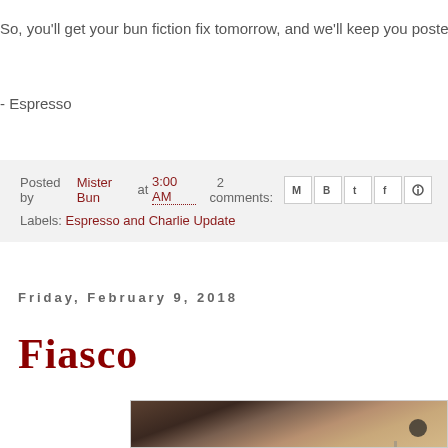So, you'll get your bun fiction fix tomorrow, and we'll keep you poste…
- Espresso
Posted by Mister Bun at 3:00 AM   2 comments:
Labels: Espresso and Charlie Update
Friday, February 9, 2018
Fiasco
[Figure (photo): Close-up photo of a rabbit or animal fur in warm brown/tan tones with a dark object visible]